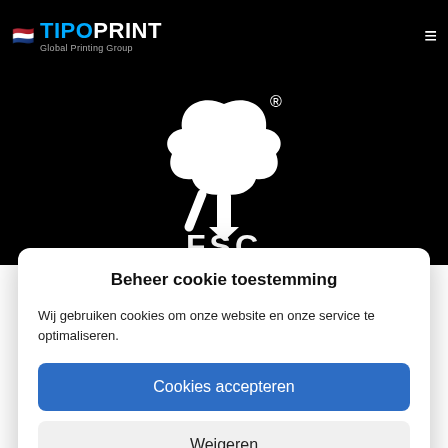[Figure (logo): TipoPrint Global Printing Group logo with Dutch flag, white menu hamburger icon on black background, and FSC certification logo (tree + checkmark with FSC text) in white on black background]
Beheer cookie toestemming
Wij gebruiken cookies om onze website en onze service te optimaliseren.
Cookies accepteren
Weigeren